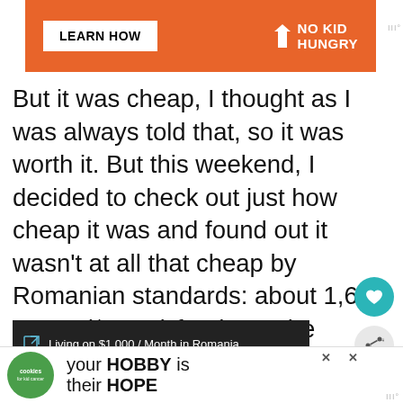[Figure (advertisement): No Kid Hungry advertisement banner with orange background, LEARN HOW button and No Kid Hungry logo]
But it was cheap, I thought as I was always told that, so it was worth it. But this weekend, I decided to check out just how cheap it was and found out it wasn't at all that cheap by Romanian standards: about 1,600 Euros ($2227) for the entire winter.
[Figure (screenshot): Link card to 'Living on $1,000 / Month in Romania' article with dark background, share button]
[Figure (advertisement): Cookies for kid cancer ad - your HOBBY is their HOPE with green circular logo]